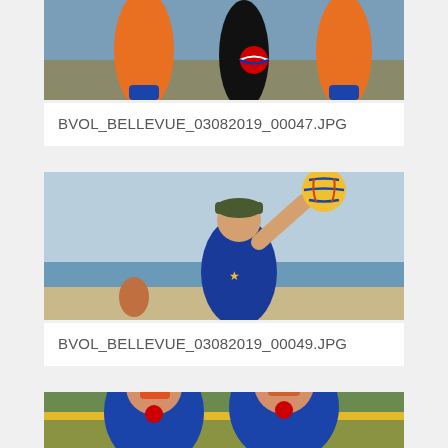[Figure (photo): Beach volleyball players in athletic wear standing together, with a Pepsi logo visible, outdoors near rocks]
BVOL_BELLEVUE_03082019_00047.JPG
[Figure (photo): Beach volleyball player reaching up to touch a volleyball, wearing a cap and blue uniform, with ocean and beach in background]
BVOL_BELLEVUE_03082019_00049.JPG
[Figure (photo): Two female beach volleyball players in blue Pepsi-branded uniforms near a yellow net, outdoors]